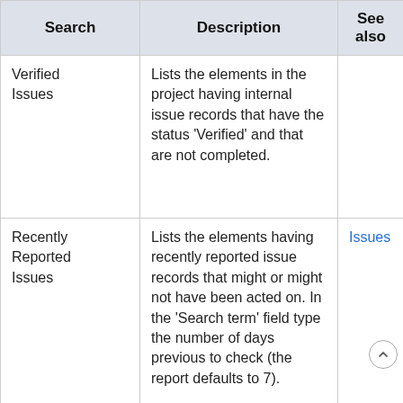| Search | Description | See also |
| --- | --- | --- |
| Verified Issues | Lists the elements in the project having internal issue records that have the status 'Verified' and that are not completed. |  |
| Recently Reported Issues | Lists the elements having recently reported issue records that might or might not have been acted on. In the 'Search term' field type the number of days previous to check (the report defaults to 7). | Issues |
|  |  |  |